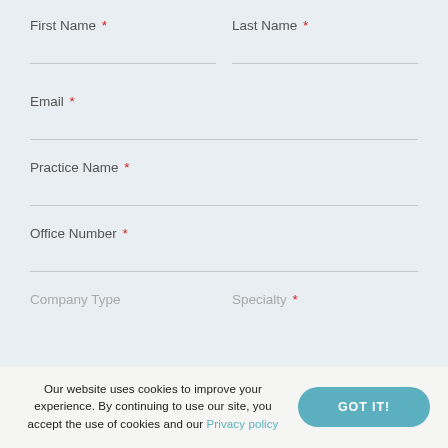First Name *
Last Name *
Email *
Practice Name *
Office Number *
Company Type
Specialty *
Our website uses cookies to improve your experience. By continuing to use our site, you accept the use of cookies and our Privacy policy
GOT IT!